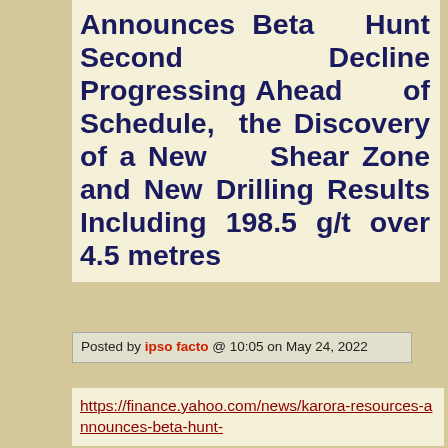Announces Beta Hunt Second Decline Progressing Ahead of Schedule, the Discovery of a New Shear Zone and New Drilling Results Including 198.5 g/t over 4.5 metres
Posted by ipso facto @ 10:05 on May 24, 2022
https://finance.yahoo.com/news/karora-resources-announces-beta-hunt-